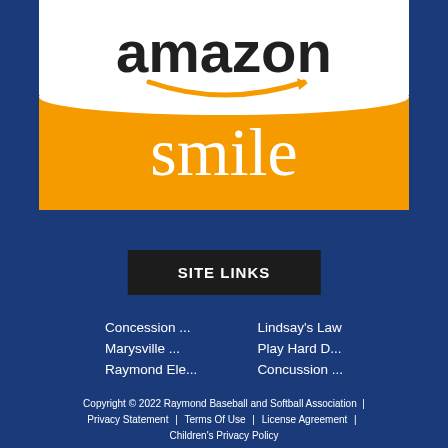[Figure (logo): Amazon Smile logo with white top section showing 'amazon' text with orange arrow/smile, and orange bottom section showing 'smile' in white text]
SITE LINKS
Concession ...
Lindsay's Law
Marysville ...
Play Hard D...
Raymond Ele...
Concussion ...
Copyright © 2022 Raymond Baseball and Softball Association  |  Privacy Statement  |  Terms Of Use  |  License Agreement  |  Children's Privacy Policy